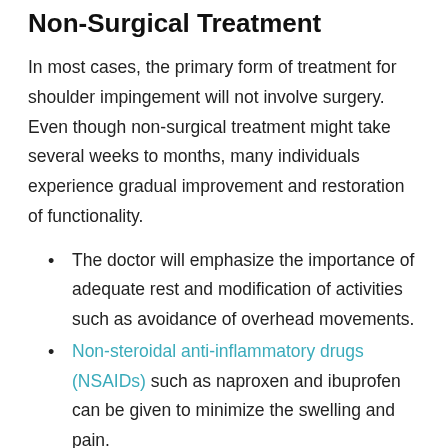Non-Surgical Treatment
In most cases, the primary form of treatment for shoulder impingement will not involve surgery. Even though non-surgical treatment might take several weeks to months, many individuals experience gradual improvement and restoration of functionality.
The doctor will emphasize the importance of adequate rest and modification of activities such as avoidance of overhead movements.
Non-steroidal anti-inflammatory drugs (NSAIDs) such as naproxen and ibuprofen can be given to minimize the swelling and pain.
Physical therapy focuses on restoring the normal motion of the shoulder. The stretching exercise will improve the range of motion. Once the pain subsides, strengthening exercises will be started.
Steroid injections are given if rest, pain medications and physical therapy are not effective in relieving the pain. This